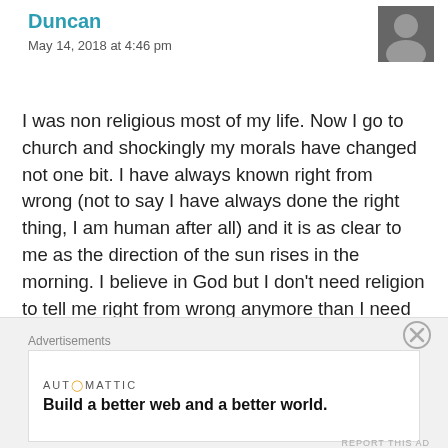Duncan
May 14, 2018 at 4:46 pm
I was non religious most of my life. Now I go to church and shockingly my morals have changed not one bit. I have always known right from wrong (not to say I have always done the right thing, I am human after all) and it is as clear to me as the direction of the sun rises in the morning. I believe in God but I don’t need religion to tell me right from wrong anymore than I need to read the Bible to tell me where to put a green house. I have learned to quit judging others’ path to righteousness. I don’t care if a good person is a Christian, atheist, Pagan, Muslim, Jew. Hindu or other. There are many righteous
Advertisements
[Figure (other): Advertisement banner: AUTOMATTIC logo with text 'Build a better web and a better world.']